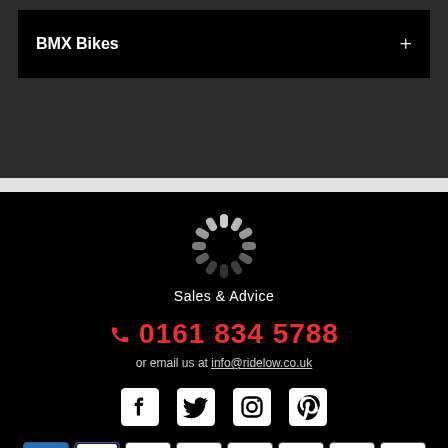BMX Bikes
[Figure (logo): Loading spinner / logo graphic for ridelow.co.uk with text Sales & Advice]
Sales & Advice
0161 834 5788
or email us at info@ridelow.co.uk
[Figure (infographic): Social media icons: Facebook, Twitter, Instagram, Pinterest]
[Figure (infographic): Payment method icons: American Express, Visa, Mastercard, Discover, JCB, Maestro, another card, PayPal]